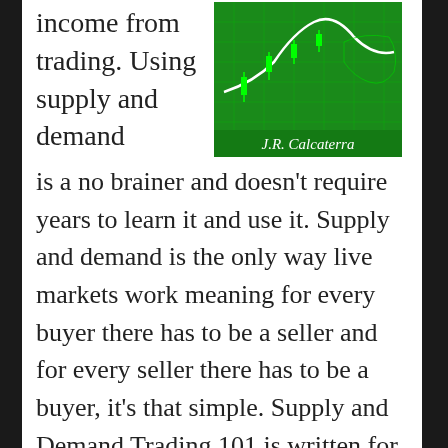income from trading. Using supply and demand
[Figure (illustration): Book cover with green trading chart background, showing 'J.R. Calcaterra' text in white on green background]
is a no brainer and doesn't require years to learn it and use it. Supply and demand is the only way live markets work meaning for every buyer there has to be a seller and for every seller there has to be a buyer, it's that simple. Supply and Demand Trading 101 is written for brand new beginner traders who wish to be a self-